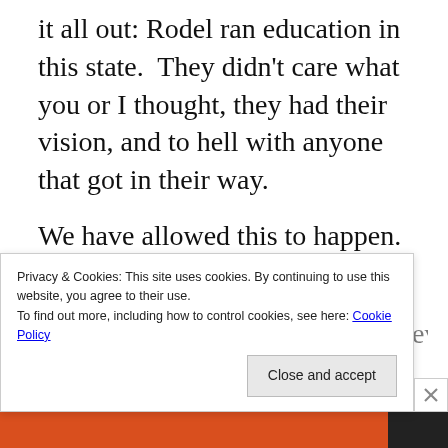it all out: Rodel ran education in this state.  They didn't care what you or I thought, they had their vision, and to hell with anyone that got in their way.
We have allowed this to happen. Because we haven't spoken as one voice. It's hard being a special needs parent. We all know this.  If it isn't impacting
Privacy & Cookies: This site uses cookies. By continuing to use this website, you agree to their use.
To find out more, including how to control cookies, see here: Cookie Policy